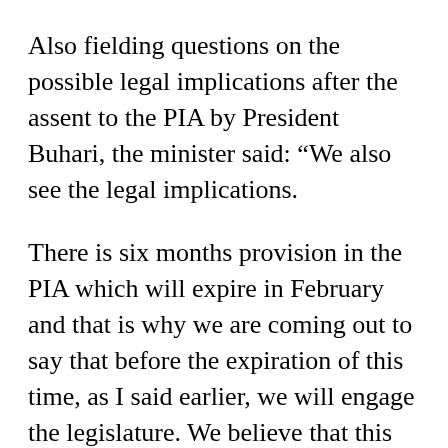Also fielding questions on the possible legal implications after the assent to the PIA by President Buhari, the minister said: “We also see the legal implications.
There is six months provision in the PIA which will expire in February and that is why we are coming out to say that before the expiration of this time, as I said earlier, we will engage the legislature. We believe that this will go to the legislature, we are applying for some amendment of the law so that we would still be within the law.
“We are proposing an 18-month extension, but